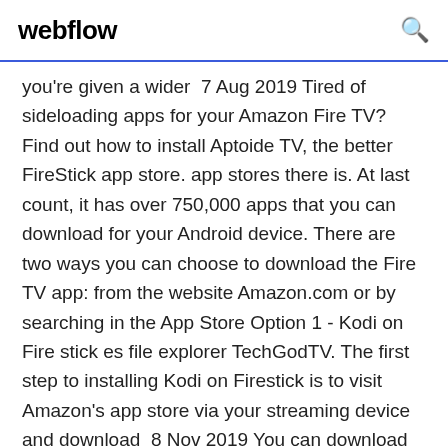webflow
you're given a wider 7 Aug 2019 Tired of sideloading apps for your Amazon Fire TV? Find out how to install Aptoide TV, the better FireStick app store. app stores there is. At last count, it has over 750,000 apps that you can download for your Android device. There are two ways you can choose to download the Fire TV app: from the website Amazon.com or by searching in the App Store Option 1 - Kodi on Fire stick es file explorer TechGodTV. The first step to installing Kodi on Firestick is to visit Amazon's app store via your streaming device and download 8 Nov 2019 You can download apps on your Fire TV Stick, or any Fire TV